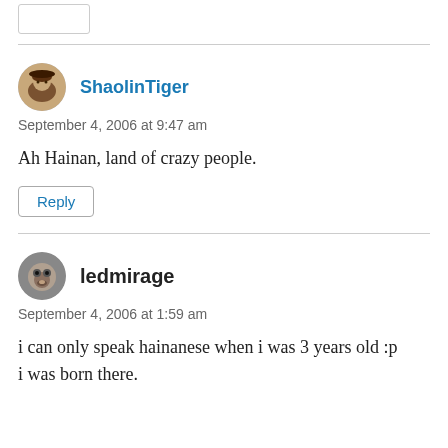[Reply button stub at top]
ShaolinTiger
September 4, 2006 at 9:47 am
Ah Hainan, land of crazy people.
Reply
ledmirage
September 4, 2006 at 1:59 am
i can only speak hainanese when i was 3 years old :p
i was born there.